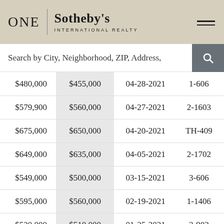[Figure (logo): ONE Sotheby's International Realty logo with hamburger menu icon on tan/beige background header bar]
Search by City, Neighborhood, ZIP, Address,
| $480,000 | $455,000 | 04-28-2021 | 1-606 |
| $579,900 | $560,000 | 04-27-2021 | 2-1603 |
| $675,000 | $650,000 | 04-20-2021 | TH-409 |
| $649,000 | $635,000 | 04-05-2021 | 2-1702 |
| $549,000 | $500,000 | 03-15-2021 | 3-606 |
| $595,000 | $560,000 | 02-19-2021 | 1-1406 |
| $530,000 | $510,000 | 01-25-2021 | 3-902 |
| $555,000 | $552,000 | 01-09-2021 | 2-1605 |